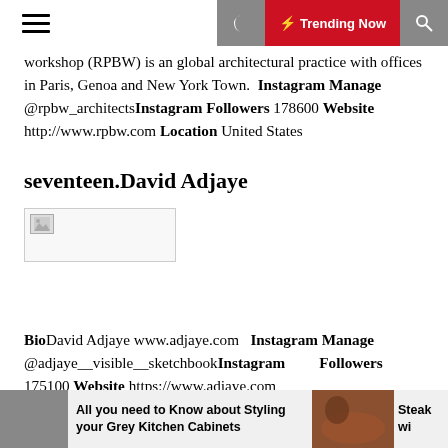Trending Now
workshop (RPBW) is an global architectural practice with offices in Paris, Genoa and New York Town. Instagram Manage @rpbw_architects Instagram Followers 178600 Website http://www.rpbw.com Location United States
seventeen.David Adjaye
[Figure (photo): Broken/missing image placeholder]
Bio David Adjaye www.adjaye.com Instagram Manage @adjaye__visible__sketchbook Instagram Followers 175100 Website https://www.adjaye.com
All you need to Know about Styling your Grey Kitchen Cabinets | Steak wi